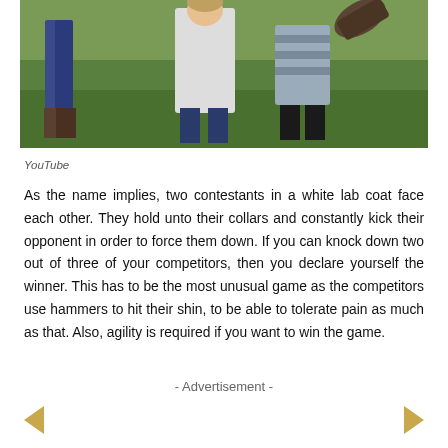[Figure (photo): Two children in white lab coats kicking each other outdoors on grass, with other figures visible]
YouTube
As the name implies, two contestants in a white lab coat face each other. They hold unto their collars and constantly kick their opponent in order to force them down. If you can knock down two out of three of your competitors, then you declare yourself the winner. This has to be the most unusual game as the competitors use hammers to hit their shin, to be able to tolerate pain as much as that. Also, agility is required if you want to win the game.
- Advertisement -